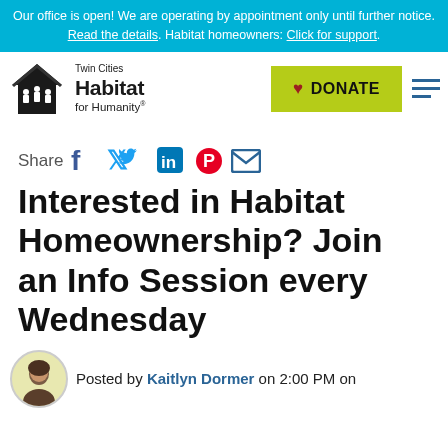Our office is open! We are operating by appointment only until further notice. Read the details. Habitat homeowners: Click for support.
[Figure (logo): Twin Cities Habitat for Humanity logo with house icon and people silhouettes]
DONATE
Share
Interested in Habitat Homeownership? Join an Info Session every Wednesday
Posted by Kaitlyn Dormer on 2:00 PM on